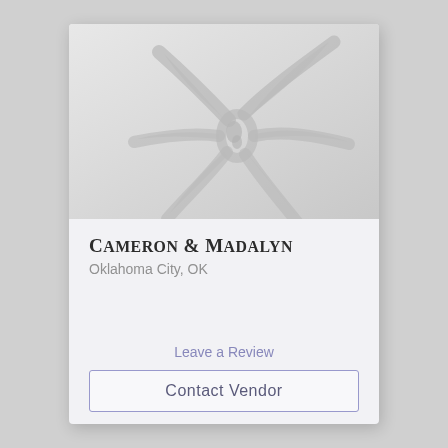[Figure (illustration): Decorative flower/sand dollar watermark graphic in light gray on a light gray gradient background, serving as the vendor card header image]
Cameron & Madalyn
Oklahoma City, OK
Leave a Review
Contact Vendor